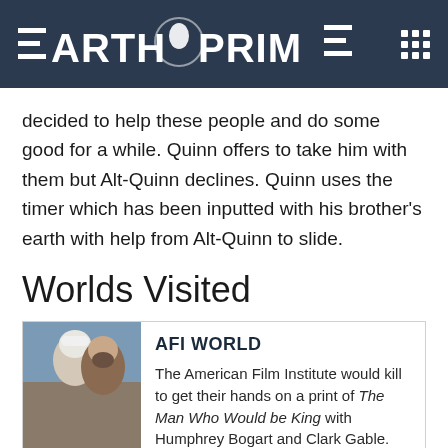EARTH PRIME
decided to help these people and do some good for a while. Quinn offers to take him with them but Alt-Quinn declines. Quinn uses the timer which has been inputted with his brother's earth with help from Alt-Quinn to slide.
Worlds Visited
[Figure (photo): Two people in winter clothing, one wearing a white beanie, shown close up against a light background.]
AFI WORLD
The American Film Institute would kill to get their hands on a print of The Man Who Would be King with Humphrey Bogart and Clark Gable.
[Figure (photo): A building or tower against a partly cloudy sky, suggesting an empty or post-apocalyptic world.]
EMPTY WORLD
Very similar to Earth Prime, with one small